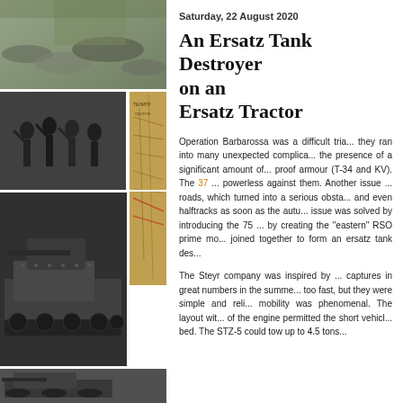[Figure (photo): Black and white photo collage on the left side showing military scenes including soldiers, tanks, and maps. Multiple overlapping photographs arranged in a grid pattern.]
Saturday, 22 August 2020
An Ersatz Tank Destroyer on an Ersatz Tractor
Operation Barbarossa was a difficult tria... they ran into many unexpected complica... the presence of a significant amount of ... proof armour (T-34 and KV). The 37 ... powerless against them. Another issue ... roads, which turned into a serious obsta... and even halftracks as soon as the autu... issue was solved by introducing the 75 ... by creating the "eastern" RSO prime mo... joined together to form an ersatz tank des...
The Steyr company was inspired by ... captures in great numbers in the summe... too fast, but they were simple and reli... mobility was phenomenal. The layout wit... of the engine permitted the short vehicl... bed. The STZ-5 could tow up to 4.5 tons...